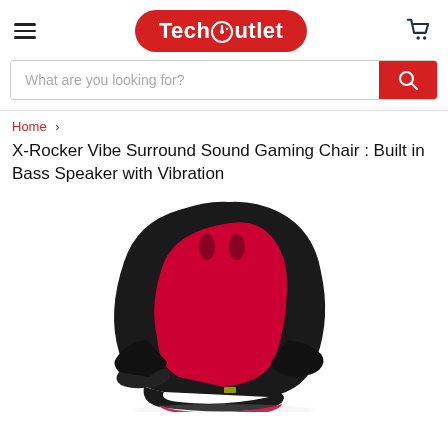TechOutlet — navigation header with hamburger menu and cart icon
What are you looking for?
Home > X-Rocker Vibe Surround Sound Gaming Chair : Built in Bass Speaker with Vibration
X-Rocker Vibe Surround Sound Gaming Chair : Built in Bass Speaker with Vibration
[Figure (photo): X-Rocker Vibe gaming chair in black and red, showing the seat back with red panel and cutout accents, armrests, photographed at an angle on a white background]